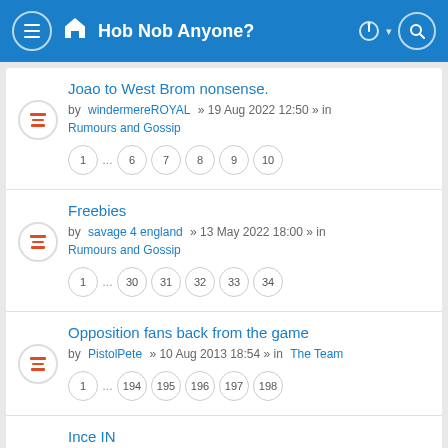Hob Nob Anyone?
Joao to West Brom nonsense.
by windermereROYAL » 19 Aug 2022 12:50 » in Rumours and Gossip — pages: 1 ... 6 7 8 9 10
Freebies
by savage 4 england » 13 May 2022 18:00 » in Rumours and Gossip — pages: 1 ... 30 31 32 33 34
Opposition fans back from the game
by PistolPete » 10 Aug 2013 18:54 » in The Team — pages: 1 ... 194 195 196 197 198
Ince IN
by biff » 19 Feb 2022 17:33 » in The Team — pages: 1 2 3 4